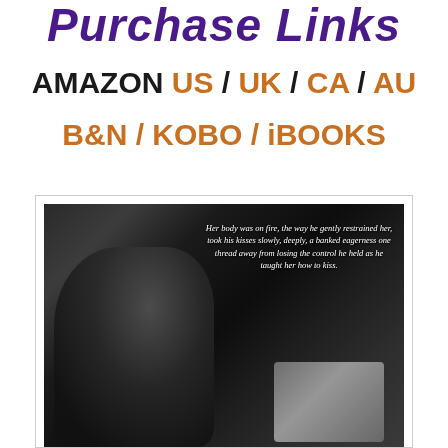Purchase Links
AMAZON US / UK / CA / AU
B&N / KOBO / iBOOKS
[Figure (photo): Black and white romantic/erotic novel promotional image showing a male figure leaning over, with a tablet device visible, and overlaid italic quote text reading: Her body was on fire, the way he gently restrained her, took his kisses slowly, deeply, a banked eagerness one thread away from losing the control he held as he taught her how to kiss.]